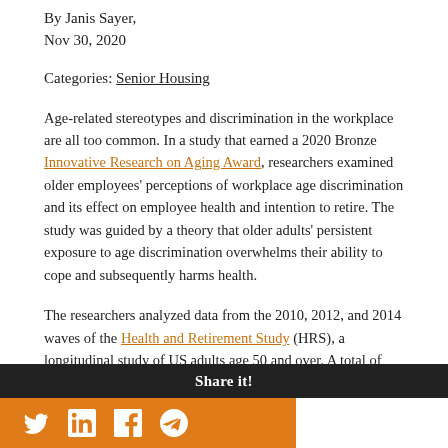By Janis Sayer,
Nov 30, 2020
Categories: Senior Housing
Age-related stereotypes and discrimination in the workplace are all too common. In a study that earned a 2020 Bronze Innovative Research on Aging Award, researchers examined older employees' perceptions of workplace age discrimination and its effect on employee health and intention to retire. The study was guided by a theory that older adults' persistent exposure to age discrimination overwhelms their ability to cope and subsequently harms health.
The researchers analyzed data from the 2010, 2012, and 2014 waves of the Health and Retirement Study (HRS), a longitudinal study of US adults age 50 and over. A total of 3,957 participants who worked at least part-time during each
Share it!